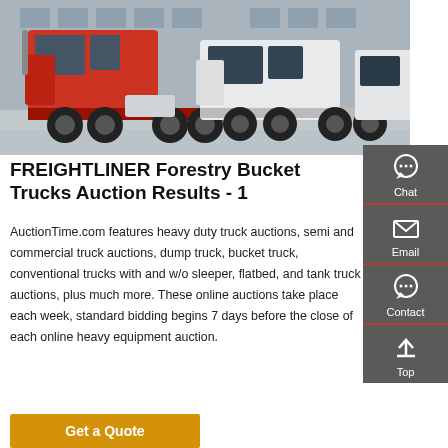[Figure (photo): Photo of heavy duty trucks (red and white) parked in a lot, showing Freightliner-style semi/tractor trucks from the side]
FREIGHTLINER Forestry Bucket Trucks Auction Results - 1
AuctionTime.com features heavy duty truck auctions, semi and commercial truck auctions, dump truck, bucket truck, conventional trucks with and w/o sleeper, flatbed, and tank truck auctions, plus much more. These online auctions take place each week, standard bidding begins 7 days before the close of each online heavy equipment auction.
[Figure (infographic): Sidebar panel with Chat, Email, Contact, and Top navigation icons]
Get a Quote